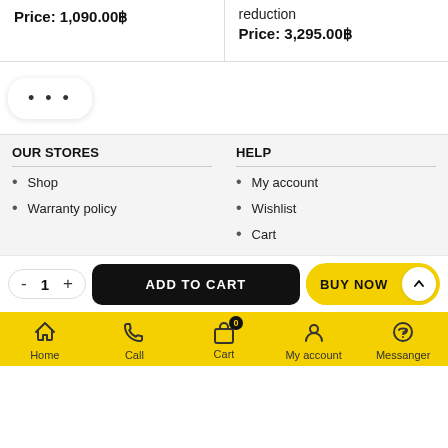Price: 1,090.00฿
reduction
Price: 3,295.00฿
• • •
OUR STORES
Shop
Warranty policy
HELP
My account
Wishlist
Cart
- 1 +
ADD TO CART
BUY NOW
Home  Call  Cart  My account  Messanger